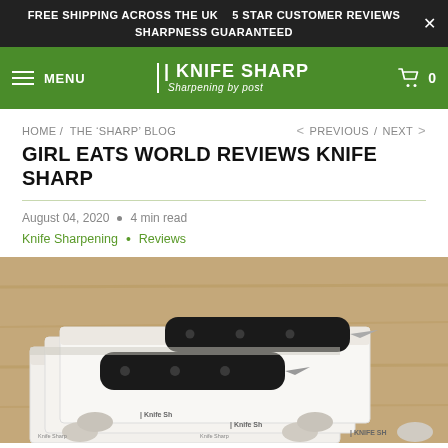FREE SHIPPING ACROSS THE UK   5 STAR CUSTOMER REVIEWS   SHARPNESS GUARANTEED
[Figure (screenshot): Knife Sharp website navigation bar with green background, hamburger menu, Knife Sharp logo (knife icon with text 'Knife Sharp - Sharpening by post'), and cart icon with 0]
HOME /  THE 'SHARP' BLOG
< PREVIOUS  /  NEXT >
GIRL EATS WORLD REVIEWS KNIFE SHARP
August 04, 2020  •  4 min read
Knife Sharpening  •  Reviews
[Figure (photo): Photo of two black-handled kitchen knives placed in a white Knife Sharp branded packaging/mailer box, with circular cutouts visible on the box, set on a wooden surface]